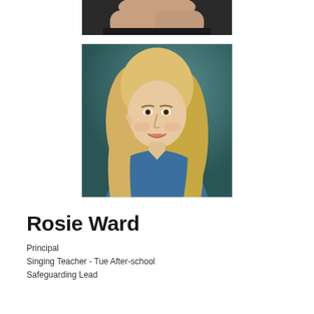[Figure (photo): Partial photo of a person in a black top, arms crossed, cropped to show torso only — top of page]
[Figure (photo): Professional headshot of Rosie Ward, a young blonde woman smiling, wearing a blue top, against a teal background]
Rosie Ward
Principal
Singing Teacher - Tue After-school
Safeguarding Lead